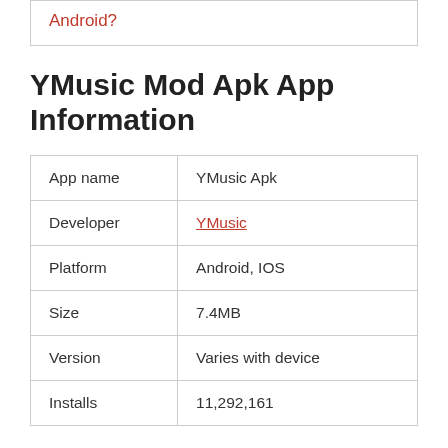Android?
YMusic Mod Apk App Information
|  |  |
| --- | --- |
| App name | YMusic Apk |
| Developer | YMusic |
| Platform | Android, IOS |
| Size | 7.4MB |
| Version | Varies with device |
| Installs | 11,292,161 |